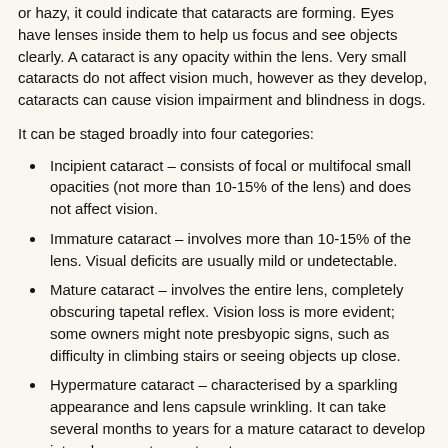or hazy, it could indicate that cataracts are forming. Eyes have lenses inside them to help us focus and see objects clearly. A cataract is any opacity within the lens. Very small cataracts do not affect vision much, however as they develop, cataracts can cause vision impairment and blindness in dogs.
It can be staged broadly into four categories:
Incipient cataract – consists of focal or multifocal small opacities (not more than 10-15% of the lens) and does not affect vision.
Immature cataract – involves more than 10-15% of the lens. Visual deficits are usually mild or undetectable.
Mature cataract – involves the entire lens, completely obscuring tapetal reflex. Vision loss is more evident; some owners might note presbyopic signs, such as difficulty in climbing stairs or seeing objects up close.
Hypermature cataract – characterised by a sparkling appearance and lens capsule wrinkling. It can take several months to years for a mature cataract to develop into a hypermature cataract.